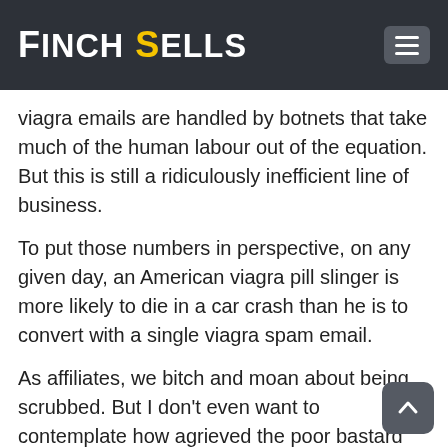Finch Sells
viagra emails are handled by botnets that take much of the human labour out of the equation. But this is still a ridiculously inefficient line of business.
To put those numbers in perspective, on any given day, an American viagra pill slinger is more likely to die in a car crash than he is to convert with a single viagra spam email.
As affiliates, we bitch and moan about being scrubbed. But I don't even want to contemplate how agrieved the poor bastard who just saw his 1/4000000